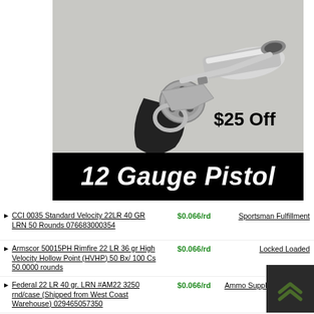[Figure (photo): A 12 gauge pistol firearm with black grip and chrome barrel, shown on a light gray background. Text overlay says '$25 Off'.]
12 Gauge Pistol
CCI 0035 Standard Velocity 22LR 40 GR LRN 50 Rounds 076683000354 — $0.066/rd — Sportsman Fulfillment
Armscor 50015PH Rimfire 22 LR 36 gr High Velocity Hollow Point (HVHP) 50 Bx/100 Cs 50.0000 rounds — $0.066/rd — Locked Loaded
Federal 22 LR 40 gr. LRN #AM22 3250 rnd/case (Shipped from West Coast Warehouse) 029465057350 — $0.066/rd — Ammo Supply Warehouse
Federal Championion Training Rimfire 22 Long Rifle 325 Count 029465057350 — $0.067/rd — Firearms Depot